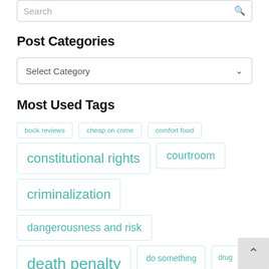Search
Post Categories
Select Category
Most Used Tags
book reviews
cheap on crime
comfort food
constitutional rights
courtroom
criminalization
dangerousness and risk
death penalty
do something
drug